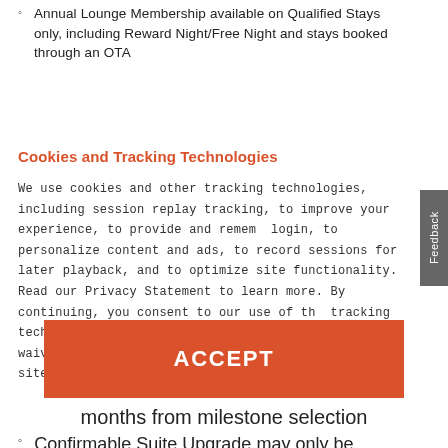Annual Lounge Membership available on Qualified Stays only, including Reward Night/Free Night and stays booked through an OTA
Cookies and Tracking Technologies
We use cookies and other tracking technologies, including session replay tracking, to improve your experience, to provide and remember login, to personalize content and ads, to record sessions for later playback, and to optimize site functionality. Read our Privacy Statement to learn more. By continuing, you consent to our use of the tracking technologies and our terms including important waivers. To learn more about the trackers on our site and change your preferences, View Settings.
[Figure (other): Orange ACCEPT button]
months from milestone selection
Confirmable Suite Upgrade may only be